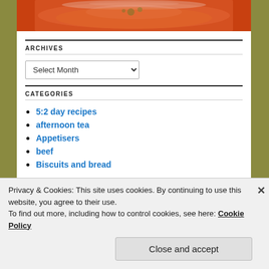[Figure (photo): Top portion of a food photo showing a bowl of tomato-based soup or stew with green herb garnish, set on a dark background]
ARCHIVES
Select Month
CATEGORIES
5:2 day recipes
afternoon tea
Appetisers
beef
Biscuits and breads (partial, cut off)
Privacy & Cookies: This site uses cookies. By continuing to use this website, you agree to their use.
To find out more, including how to control cookies, see here: Cookie Policy
Close and accept